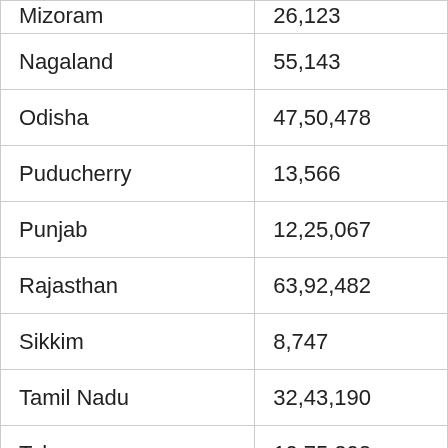| State/UT | Value |
| --- | --- |
| Mizoram | 26,123 |
| Nagaland | 55,143 |
| Odisha | 47,50,478 |
| Puducherry | 13,566 |
| Punjab | 12,25,067 |
| Rajasthan | 63,92,482 |
| Sikkim | 8,747 |
| Tamil Nadu | 32,43,190 |
| Telangana | 10,75,202 |
| Tripura | 2,72,323 |